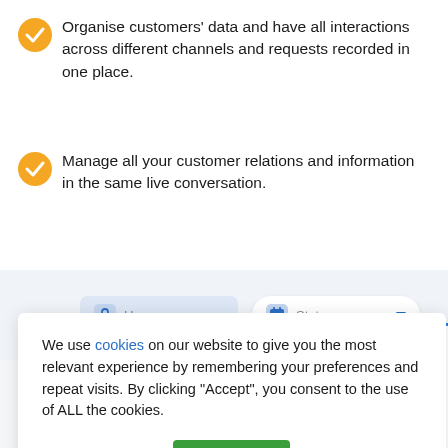Organise customers' data and have all interactions across different channels and requests recorded in one place.
Manage all your customer relations and information in the same live conversation.
[Figure (screenshot): UI input fields showing 'User name' text field with lock icon and 'Status' dropdown with calendar icon and dropdown arrow, on a light blue-grey background.]
[Figure (screenshot): Cookie consent popup overlay with text: 'We use cookies on our website to give you the most relevant experience by remembering your preferences and repeat visits. By clicking "Accept", you consent to the use of ALL the cookies.' with 'Cookie settings' underlined link and green 'ACCEPT' button. Behind the overlay, a partial CRM interface with blue border and 'ion' text is visible on the right.]